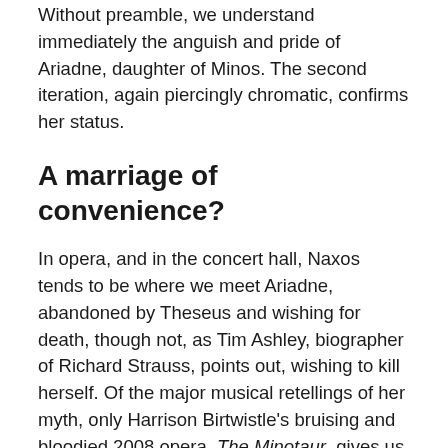Without preamble, we understand immediately the anguish and pride of Ariadne, daughter of Minos. The second iteration, again piercingly chromatic, confirms her status.
A marriage of convenience?
In opera, and in the concert hall, Naxos tends to be where we meet Ariadne, abandoned by Theseus and wishing for death, though not, as Tim Ashley, biographer of Richard Strauss, points out, wishing to kill herself. Of the major musical retellings of her myth, only Harrison Birtwistle's bruising and bloodied 2008 opera, The Minotaur, gives us an impression of Ariadne's first encounter with Theseus, and the motivation for her assistance in his slaughter of her monstrous half-brother, the Minotaur.
Birtwistle's Ariadne is traumatised by the violence of ritual sacrifice in the labyrinth, and is a close cousin to Strauss's Elektra in her hatred of her mother, Pasiphae, whose deviant lust she recounts in duet with a snarling